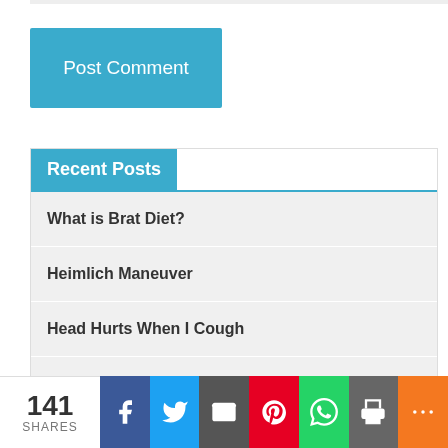[Figure (other): Post Comment button — blue/teal rectangular button with white text]
Recent Posts
What is Brat Diet?
Heimlich Maneuver
Head Hurts When I Cough
Coffin Lowry Syndrome
Haptoglobin
141 SHARES — social share bar: Facebook, Twitter, Email, Pinterest, WhatsApp, Print, More